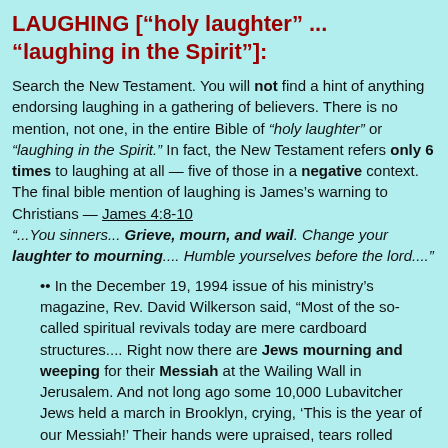LAUGHING ["holy laughter" ... "laughing in the Spirit"]:
Search the New Testament. You will not find a hint of anything endorsing laughing in a gathering of believers. There is no mention, not one, in the entire Bible of "holy laughter" or "laughing in the Spirit." In fact, the New Testament refers only 6 times to laughing at all — five of those in a negative context. The final bible mention of laughing is James's warning to Christians — James 4:8-10 "...You sinners... Grieve, mourn, and wail. Change your laughter to mourning.... Humble yourselves before the lord...."
•• In the December 19, 1994 issue of his ministry's magazine, Rev. David Wilkerson said, "Most of the so-called spiritual revivals today are mere cardboard structures.... Right now there are Jews mourning and weeping for their Messiah at the Wailing Wall in Jerusalem. And not long ago some 10,000 Lubavitcher Jews held a march in Brooklyn, crying, 'This is the year of our Messiah!' Their hands were upraised, tears rolled down their faces, and they wept and cried out for their Messiah.
[Wilkerson continued:] "When I think of the 25 million babies aborted in this country and all the lost people who are going to hell, I don't understand why multitudes of Christians are laughing. Why are millions of Jews weeping and millions of hellbound, disillusioned sinners crying